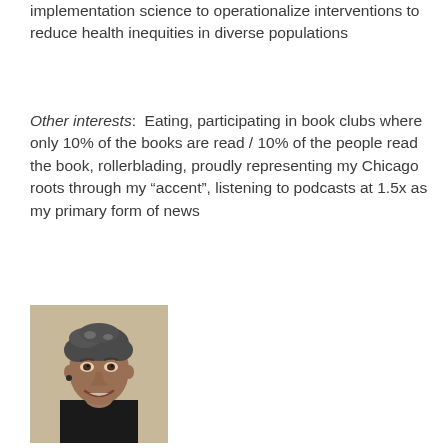implementation science to operationalize interventions to reduce health inequities in diverse populations
Other interests:  Eating, participating in book clubs where only 10% of the books are read / 10% of the people read the book, rollerblading, proudly representing my Chicago roots through my “accent”, listening to podcasts at 1.5x as my primary form of news
[Figure (photo): Headshot of a woman with short curly dark gray hair, smiling, wearing a dark jacket, photographed against a light beige background.]